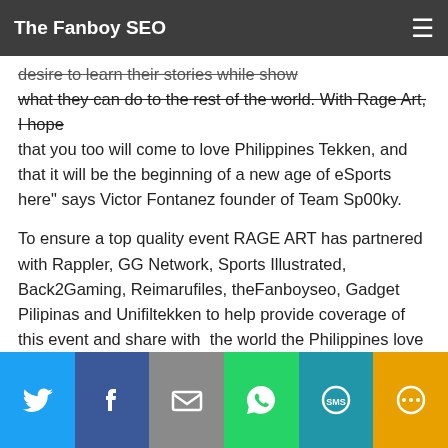The Fanboy SEO
fought only for their pride. I was compelled to put my skills to
what they can do to the rest of the world. With Rage Art, I hope that you too will come to love Philippines Tekken, and that it will be the beginning of a new age of eSports here" says Victor Fontanez founder of Team Sp00ky.
To ensure a top quality event RAGE ART has partnered with Rappler, GG Network, Sports Illustrated, Back2Gaming, Reimarufiles, theFanboyseo, Gadget Pilipinas and Unifiltekken to help provide coverage of this event and share with  the world the Philippines love for gaming. Fatboys Pizza, will also be supporting the event, by providing snacks to those who are participating and Grab, the event's preferred transport service will also be providing a special code to attendees on June 3-4, 2017.
[Figure (infographic): Social share bar with buttons for Twitter, Facebook, Email, WhatsApp, SMS, and More]